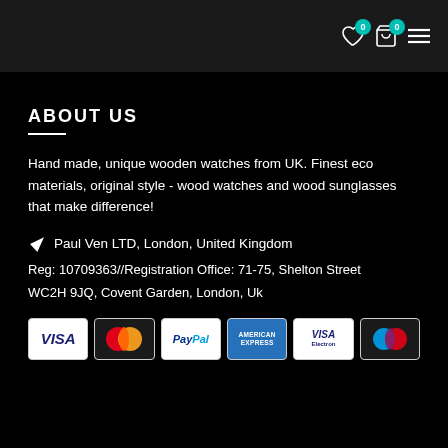Navigation bar with wishlist (0), cart (0), and menu icons
ABOUT US
Hand made, unique wooden watches from UK. Finest eco materials, original style - wood watches and wood sunglasses that make difference!
Paul Ven LTD, London, United Kingdom
Reg: 10709363//Registration Office: 71-75, Shelton Street
WC2H 9JQ, Covent Garden, London, Uk
[Figure (other): Payment method icons: VISA, Mastercard, PayPal, American Express, VISA Electron, Maestro]